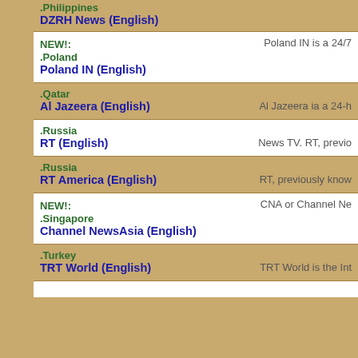.Philippines
DZRH News (English)
NEW!:
.Poland
Poland IN (English)
Poland IN is a 24/7
.Qatar
Al Jazeera (English)
Al Jazeera ia a 24-h
.Russia
RT (English)
News TV. RT, previo
.Russia
RT America (English)
RT, previously know
NEW!:
.Singapore
Channel NewsAsia (English)
CNA or Channel Ne
.Turkey
TRT World (English)
TRT World is the Int